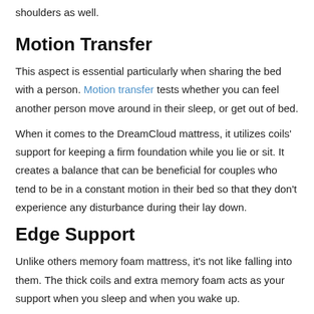shoulders as well.
Motion Transfer
This aspect is essential particularly when sharing the bed with a person. Motion transfer tests whether you can feel another person move around in their sleep, or get out of bed.
When it comes to the DreamCloud mattress, it utilizes coils' support for keeping a firm foundation while you lie or sit. It creates a balance that can be beneficial for couples who tend to be in a constant motion in their bed so that they don't experience any disturbance during their lay down.
Edge Support
Unlike others memory foam mattress, it's not like falling into them. The thick coils and extra memory foam acts as your support when you sleep and when you wake up.